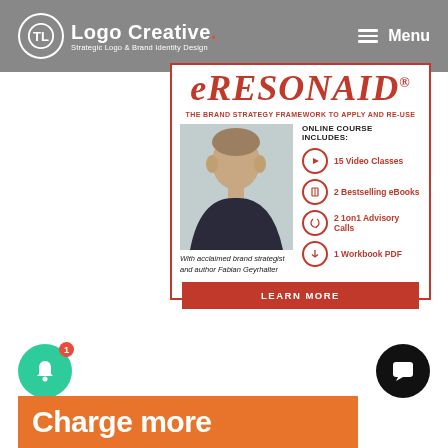Logo Creative. Strategic Logo & Brand Identity Design | Menu
eRESONAID®
THE BRAND STRATEGY FRAMEWORK TO APPLY AND RE-USE
[Figure (photo): Portrait photo of Fabian Geyrhalter, a middle-aged man with short hair wearing a dark shirt]
With acclaimed brand strategist and author Fabian Geyrhalter
ONLINE COURSE INCLUDES:
15 Video Classes
2 Bestselling eBooks
2 1on1 Advisory Calls
1 Workbook PDF
LEARN MORE
Charge more